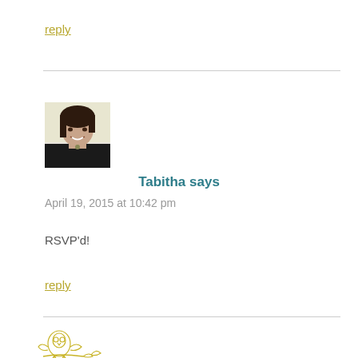reply
[Figure (photo): Avatar photo of Tabitha - woman with dark hair smiling]
Tabitha says
April 19, 2015 at 10:42 pm
RSVP'd!
reply
[Figure (logo): Partial decorative logo/illustration at bottom left, yellow/gold color]